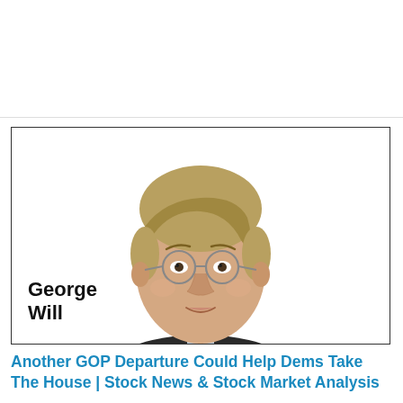[Figure (photo): Portrait photo of George Will, a man with short brown hair, round wire-framed glasses, wearing a dark suit. The name 'George Will' is displayed in bold black text in the lower-left of the image box.]
Another GOP Departure Could Help Dems Take The House | Stock News & Stock Market Analysis